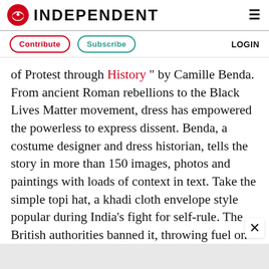INDEPENDENT
Contribute   Subscribe   LOGIN
of Protest through History " by Camille Benda. From ancient Roman rebellions to the Black Lives Matter movement, dress has empowered the powerless to express dissent. Benda, a costume designer and dress historian, tells the story in more than 150 images, photos and paintings with loads of context in text. Take the simple topi hat, a khadi cloth envelope style popular during India's fight for self-rule. The British authorities banned it, throwing fuel on the fire. $27.50. Princeton Architectural Press